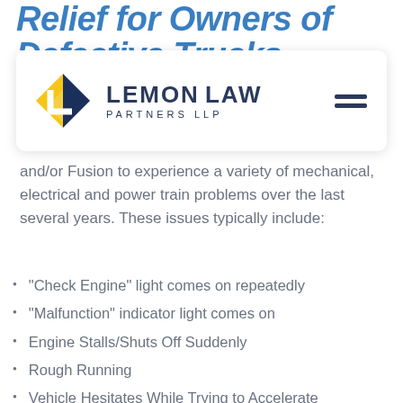Relief for Owners of Defective Trucks
[Figure (logo): Lemon Law Partners LLP logo with diamond shape in blue and yellow]
and/or Fusion to experience a variety of mechanical, electrical and power train problems over the last several years. These issues typically include:
“Check Engine” light comes on repeatedly
“Malfunction” indicator light comes on
Engine Stalls/Shuts Off Suddenly
Rough Running
Vehicle Hesitates While Trying to Accelerate
Failure to Accelerate
Failure to Start